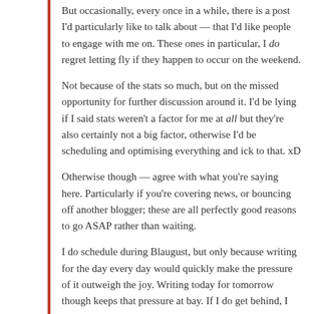But occasionally, every once in a while, there is a post I'd particularly like to talk about — that I'd like people to engage with me on. These ones in particular, I do regret letting fly if they happen to occur on the weekend.
Not because of the stats so much, but on the missed opportunity for further discussion around it. I'd be lying if I said stats weren't a factor for me at all but they're also certainly not a big factor, otherwise I'd be scheduling and optimising everything and ick to that. xD
Otherwise though — agree with what you're saying here. Particularly if you're covering news, or bouncing off another blogger; these are all perfectly good reasons to go ASAP rather than waiting.
I do schedule during Blaugust, but only because writing for the day every day would quickly make the pressure of it outweigh the joy. Writing today for tomorrow though keeps that pressure at bay. If I do get behind, I still have a full 24 hours to catch up — and that helps a great deal.